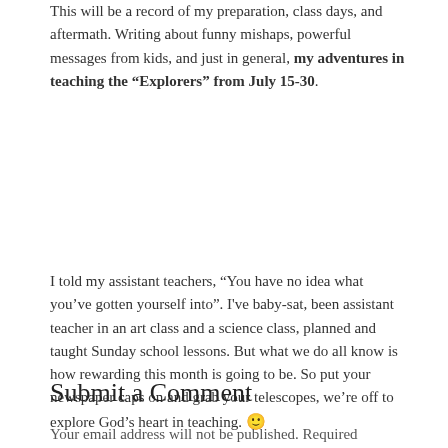This will be a record of my preparation, class days, and aftermath. Writing about funny mishaps, powerful messages from kids, and just in general, my adventures in teaching the “Explorers” from July 15-30.
I told my assistant teachers, “You have no idea what you’ve gotten yourself into”. I've baby-sat, been assistant teacher in an art class and a science class, planned and taught Sunday school lessons. But what we do all know is how rewarding this month is going to be. So put your newspaper caps on and grab your telescopes, we’re off to explore God’s heart in teaching. 🙂
Submit a Comment
Your email address will not be published. Required